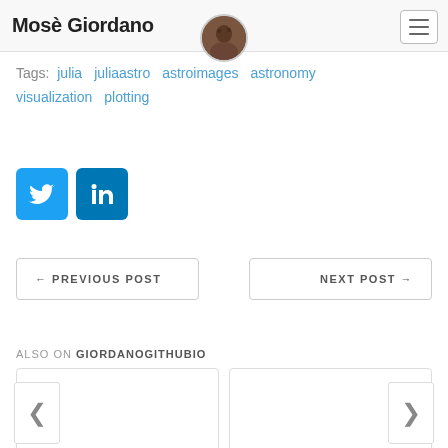Mosè Giordano
Tags: julia  juliaastro  astroimages  astronomy  visualization  plotting
[Figure (illustration): Twitter and LinkedIn social share buttons]
← PREVIOUS POST
NEXT POST →
ALSO ON GIORDANOGITHUBIO
[Figure (screenshot): Two article preview cards with left and right carousel navigation buttons]